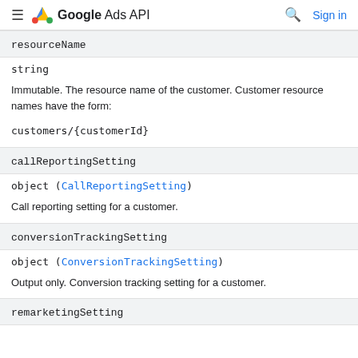Google Ads API — Sign in
resourceName
string
Immutable. The resource name of the customer. Customer resource names have the form:
customers/{customerId}
callReportingSetting
object (CallReportingSetting)
Call reporting setting for a customer.
conversionTrackingSetting
object (ConversionTrackingSetting)
Output only. Conversion tracking setting for a customer.
remarketingSetting